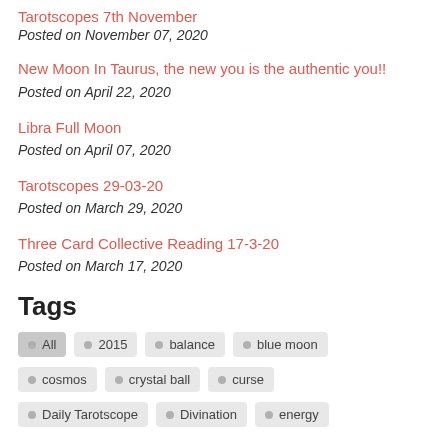Tarotscopes 7th November
Posted on November 07, 2020
New Moon In Taurus, the new you is the authentic you!!
Posted on April 22, 2020
Libra Full Moon
Posted on April 07, 2020
Tarotscopes 29-03-20
Posted on March 29, 2020
Three Card Collective Reading 17-3-20
Posted on March 17, 2020
Tags
All
2015
balance
blue moon
cosmos
crystal ball
curse
Daily Tarotscope
Divination
energy